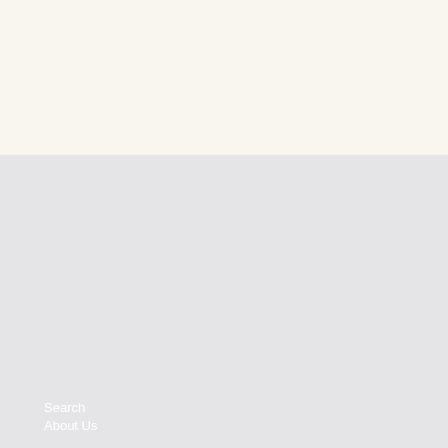[Figure (other): Top section with cream/beige background, appears to be part of a website with some navigation icons at the top]
Search
About Us
Thank you for helping us colour the world beautiful!
You can now visit us at our physical Store!
Unit WVL06 West Village, Lower Ground, Bluewater, Kent DA9 9SB